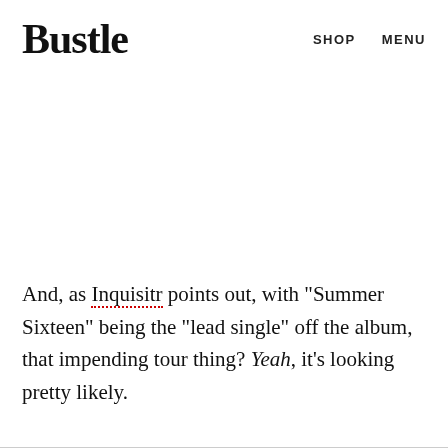Bustle   SHOP   MENU
And, as Inquisitr points out, with "Summer Sixteen" being the "lead single" off the album, that impending tour thing? Yeah, it's looking pretty likely.